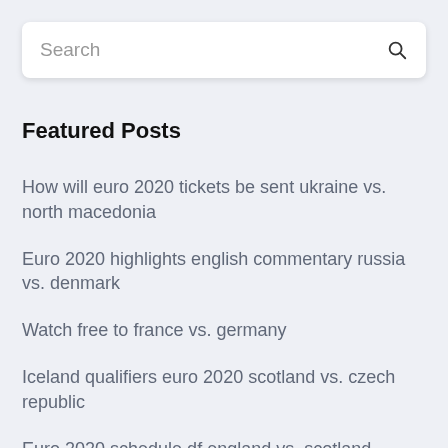Search
Featured Posts
How will euro 2020 tickets be sent ukraine vs. north macedonia
Euro 2020 highlights english commentary russia vs. denmark
Watch free to france vs. germany
Iceland qualifiers euro 2020 scotland vs. czech republic
Euro 2020 schedule df england vs. scotland
Soccer euro 2020 croatia vs. scotland